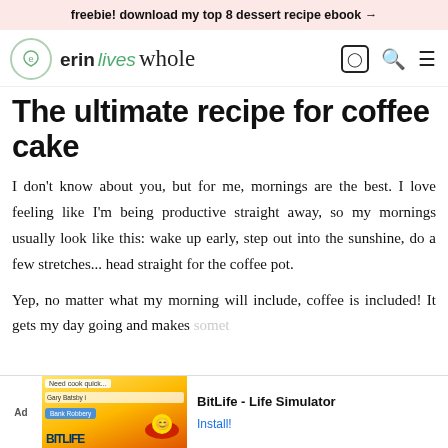freebie! download my top 8 dessert recipe ebook →
erin lives whole
The ultimate recipe for coffee cake
I don't know about you, but for me, mornings are the best. I love feeling like I'm being productive straight away, so my mornings usually look like this: wake up early, step out into the sunshine, do a few stretches... head straight for the coffee pot.
Yep, no matter what my morning will include, coffee is included! It gets my day going and makes somet
[Figure (screenshot): Ad banner for BitLife - Life Simulator game with yellow/orange game graphics and Install button]